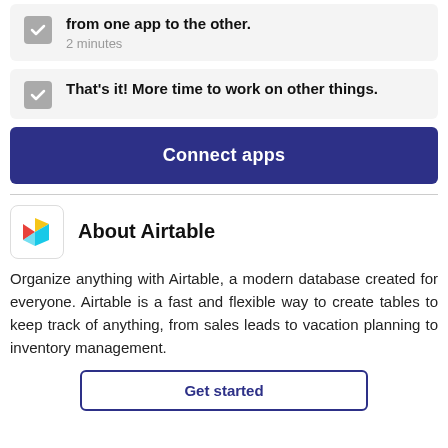from one app to the other. 2 minutes
That's it! More time to work on other things.
Connect apps
[Figure (logo): Airtable logo — colorful 3D box icon]
About Airtable
Organize anything with Airtable, a modern database created for everyone. Airtable is a fast and flexible way to create tables to keep track of anything, from sales leads to vacation planning to inventory management.